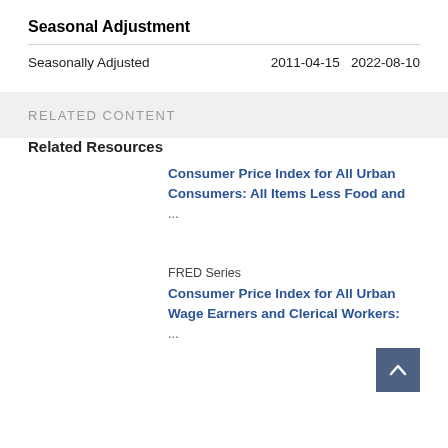Seasonal Adjustment
|  |  |  |
| --- | --- | --- |
| Seasonally Adjusted | 2011-04-15 | 2022-08-10 |
RELATED CONTENT
Related Resources
Consumer Price Index for All Urban Consumers: All Items Less Food and  ...
FRED Series
Consumer Price Index for All Urban Wage Earners and Clerical Workers:  ...